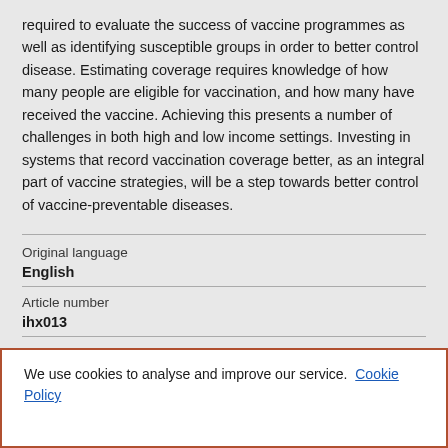required to evaluate the success of vaccine programmes as well as identifying susceptible groups in order to better control disease. Estimating coverage requires knowledge of how many people are eligible for vaccination, and how many have received the vaccine. Achieving this presents a number of challenges in both high and low income settings. Investing in systems that record vaccination coverage better, as an integral part of vaccine strategies, will be a step towards better control of vaccine-preventable diseases.
Original language
English
Article number
ihx013
Pages (from-to)
We use cookies to analyse and improve our service. Cookie Policy